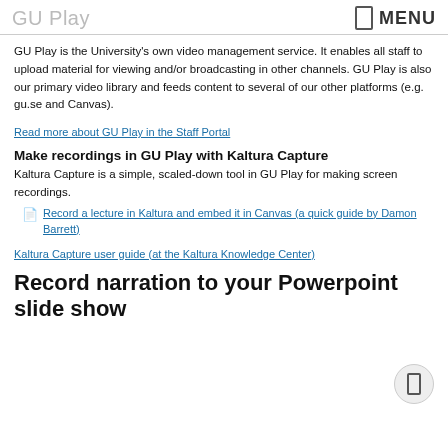GU Play  MENU
GU Play is the University's own video management service. It enables all staff to upload material for viewing and/or broadcasting in other channels. GU Play is also our primary video library and feeds content to several of our other platforms (e.g. gu.se and Canvas).
Read more about GU Play in the Staff Portal
Make recordings in GU Play with Kaltura Capture
Kaltura Capture is a simple, scaled-down tool in GU Play for making screen recordings.
Record a lecture in Kaltura and embed it in Canvas (a quick guide by Damon Barrett)
Kaltura Capture user guide (at the Kaltura Knowledge Center)
Record narration to your Powerpoint slide show